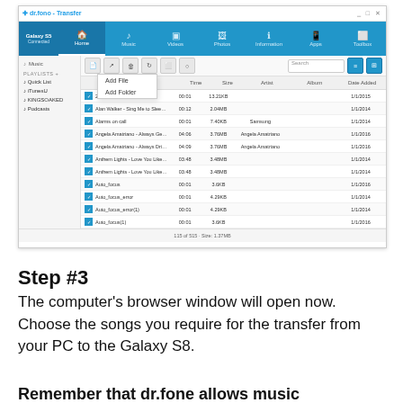[Figure (screenshot): dr.fono Transfer application window showing Music section with a list of songs, toolbar with Add File/Add Folder dropdown visible, left sidebar with playlists (Quick List, iTunesU, KINGSOAKED, Podcasts), and file list showing multiple audio files with columns for Name, Time, Size, Artist, Album, Date Added.]
Step #3
The computer's browser window will open now. Choose the songs you require for the transfer from your PC to the Galaxy S8.
Remember that dr.fone allows music